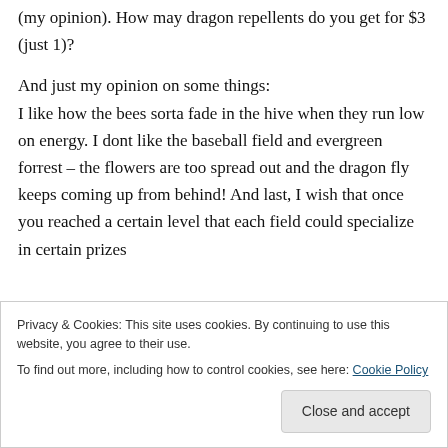(my opinion). How may dragon repellents do you get for $3 (just 1)?
And just my opinion on some things: I like how the bees sorta fade in the hive when they run low on energy. I dont like the baseball field and evergreen forrest – the flowers are too spread out and the dragon fly keeps coming up from behind! And last, I wish that once you reached a certain level that each field could specialize in certain prizes
Privacy & Cookies: This site uses cookies. By continuing to use this website, you agree to their use. To find out more, including how to control cookies, see here: Cookie Policy